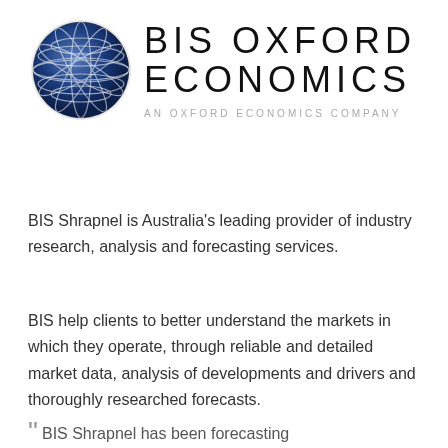[Figure (logo): BIS Oxford Economics logo: a blue globe on the left and the text 'BIS OXFORD ECONOMICS' in large spaced letters on the right, with 'AN OXFORD ECONOMICS COMPANY' in smaller grey spaced text below]
BIS Shrapnel is Australia's leading provider of industry research, analysis and forecasting services.
BIS help clients to better understand the markets in which they operate, through reliable and detailed market data, analysis of developments and drivers and thoroughly researched forecasts.
" BIS Shrapnel has been forecasting